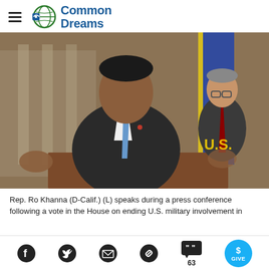Common Dreams
[Figure (photo): Rep. Ro Khanna (D-Calif.) (L) speaks at a podium during a press conference, with another congressman standing behind him near a U.S. flag.]
Rep. Ro Khanna (D-Calif.) (L) speaks during a press conference following a vote in the House on ending U.S. military involvement in
[Figure (infographic): Social sharing bar with Facebook, Twitter, email, link, comments (63), and GIVE button icons.]